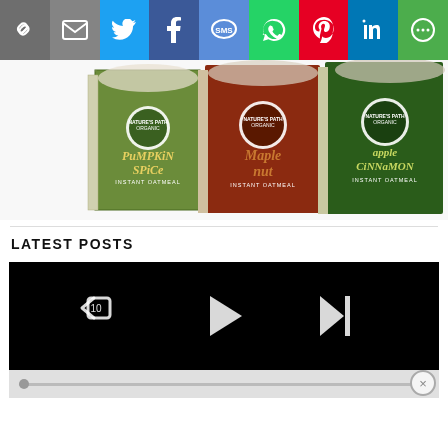[Figure (screenshot): Social share button bar with icons: link/chain, email, Twitter, Facebook, SMS, WhatsApp, Pinterest, LinkedIn, More]
[Figure (photo): Nature's Path Organic instant oatmeal boxes: Pumpkin Spice (green), Maple Nut (brown/red), Apple Cinnamon (green), with bowls of oatmeal visible above each box]
LATEST POSTS
[Figure (screenshot): Video player with black background showing playback controls: rewind 10 seconds button on left, play button (triangle) in center, skip to next button on right. Below is a light gray progress/scrubber bar.]